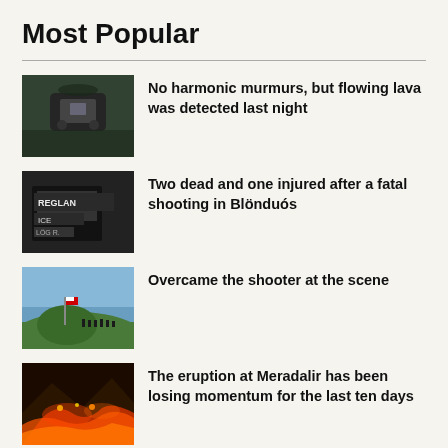Most Popular
No harmonic murmurs, but flowing lava was detected last night
Two dead and one injured after a fatal shooting in Blönduós
Overcame the shooter at the scene
The eruption at Meradalir has been losing momentum for the last ten days
Breaking news: Volcanic eruption in the Reykjanes peninsula